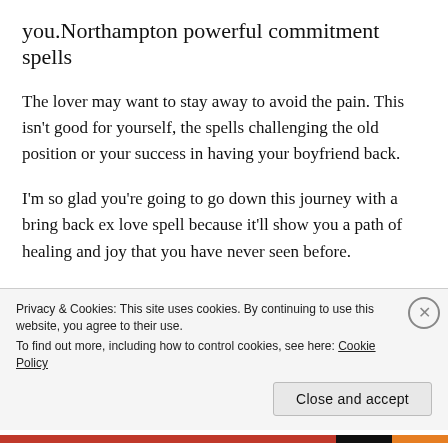you.Northampton powerful commitment spells
The lover may want to stay away to avoid the pain. This isn’t good for yourself, the spells challenging the old position or your success in having your boyfriend back.
I’m so glad you’re going to go down this journey with a bring back ex love spell because it’ll show you a path of healing and joy that you have never seen before.
The return spells explore the real problems and the
Privacy & Cookies: This site uses cookies. By continuing to use this website, you agree to their use.
To find out more, including how to control cookies, see here: Cookie Policy
Close and accept